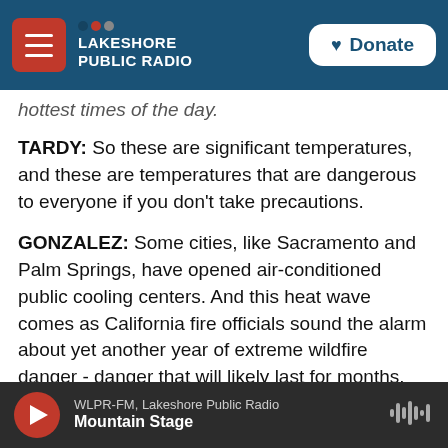NPR | Lakeshore Public Radio | Donate
hottest times of the day.
TARDY: So these are significant temperatures, and these are temperatures that are dangerous to everyone if you don't take precautions.
GONZALEZ: Some cities, like Sacramento and Palm Springs, have opened air-conditioned public cooling centers. And this heat wave comes as California fire officials sound the alarm about yet another year of extreme wildfire danger - danger that will likely last for months.
(SOUNDBITE OF ARCHIVED RECORDING)
WLPR-FM, Lakeshore Public Radio | Mountain Stage